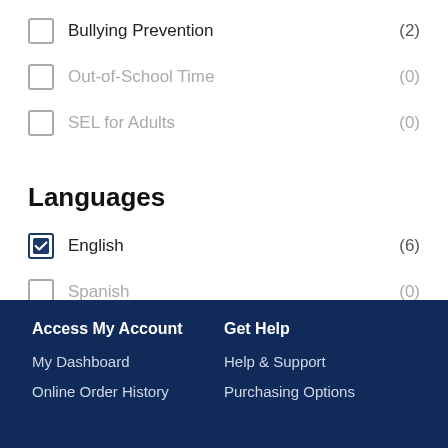Bullying Prevention (2)
Out-of-School Time (0)
SEL for Adults (0)
Languages
English (6)
Spanish (0)
Access My Account
My Dashboard
Online Order History
Get Help
Help & Support
Purchasing Options